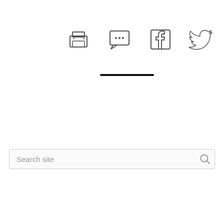[Figure (infographic): Row of four social/action icons: printer, chat/comment bubble with ellipsis, Facebook, Twitter]
[Figure (other): Horizontal black divider line]
Search site